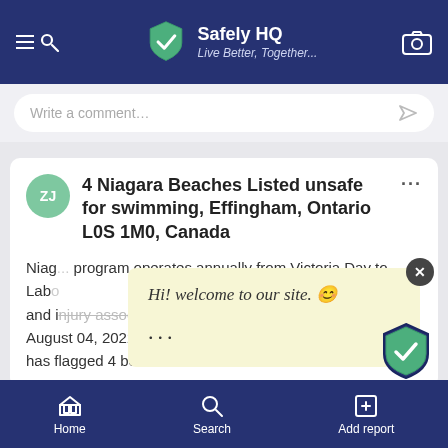Safely HQ — Live Better, Together...
Write a comment…
4 Niagara Beaches Listed unsafe for swimming, Effingham, Ontario L0S 1M0, Canada
Hi! welcome to our site. 😊
Niagara... program operates annually from Victoria Day to Labor... and injury associated with attending the beaches. August 04, 2022, the Niagara Region Public Health has flagged 4 beaches as... See More
Home  Search  Add report